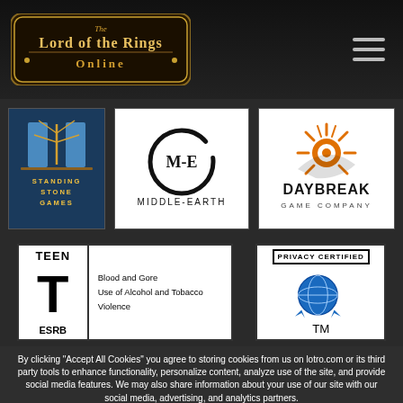[Figure (logo): Lord of the Rings Online logo in header]
[Figure (logo): Standing Stone Games logo]
[Figure (logo): Middle-Earth logo]
[Figure (logo): Daybreak Game Company logo]
[Figure (other): ESRB Teen rating badge with Blood and Gore, Use of Alcohol and Tobacco, Violence]
[Figure (other): Privacy Certified badge with globe seal]
By clicking "Accept All Cookies" you agree to storing cookies from us on lotro.com or its third party tools to enhance functionality, personalize content, analyze use of the site, and provide social media features. We may also share information about your use of our site with our social media, advertising, and analytics partners.
✓ Accept All lotro.com Cookies
✗ Reject All lotro.com Cookies
Personalize lotro.com Cookies
Cookie Policy